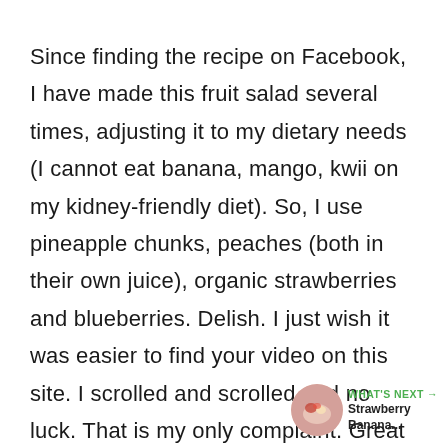Since finding the recipe on Facebook, I have made this fruit salad several times, adjusting it to my dietary needs (I cannot eat banana, mango, kwii on my kidney-friendly diet). So, I use pineapple chunks, peaches (both in their own juice), organic strawberries and blueberries. Delish. I just wish it was easier to find your video on this site. I scrolled and scrolled and no luck. That is my only complaint. Great recipe, thank you for it!
[Figure (illustration): Green circular like/heart button with count 115 below it, and a share icon button below that]
[Figure (illustration): WHAT'S NEXT arrow label in green, with a circular thumbnail of strawberry banana dish, and text 'Strawberry Banana...']